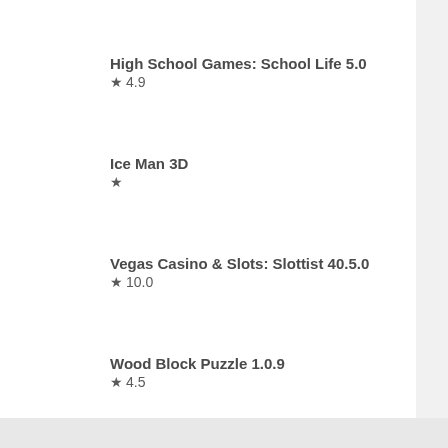High School Games: School Life 5.0
★ 4.9
Ice Man 3D
★
Vegas Casino & Slots: Slottist 40.5.0
★ 10.0
Wood Block Puzzle 1.0.9
★ 4.5